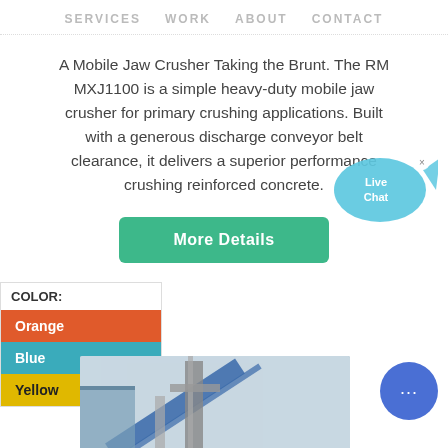SERVICES   WORK   ABOUT   CONTACT
A Mobile Jaw Crusher Taking the Brunt. The RM MXJ1100 is a simple heavy-duty mobile jaw crusher for primary crushing applications. Built with a generous discharge conveyor belt clearance, it delivers a superior performance crushing reinforced concrete.
[Figure (illustration): Live Chat speech bubble icon with 'Live Chat' text, cyan/blue color]
COLOR:
Orange
Blue
Yellow
[Figure (photo): Industrial facility with conveyor belts and tall metal structures against a light sky]
[Figure (illustration): Blue circular chat bubble icon with three dots]